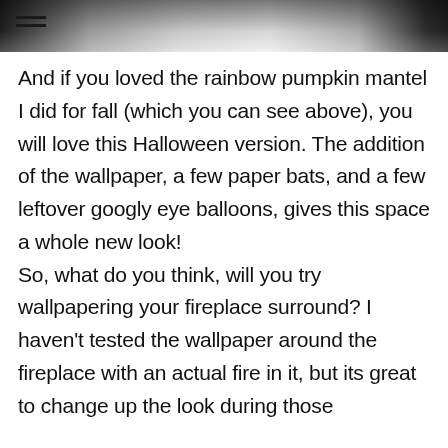[Figure (photo): Partial photo strip at top of page showing a dark and light patterned background]
And if you loved the rainbow pumpkin mantel I did for fall (which you can see above), you will love this Halloween version. The addition of the wallpaper, a few paper bats, and a few leftover googly eye balloons, gives this space a whole new look! So, what do you think, will you try wallpapering your fireplace surround? I haven't tested the wallpaper around the fireplace with an actual fire in it, but its great to change up the look during those